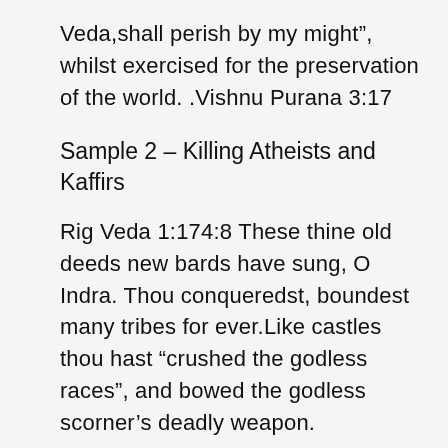Veda,shall perish by my might”, whilst exercised for the preservation of the world. .Vishnu Purana 3:17
Sample 2 – Killing Atheists and Kaffirs
Rig Veda 1:174:8 These thine old deeds new bards have sung, O Indra. Thou conqueredst, boundest many tribes for ever.Like castles thou hast “crushed the godless races”, and bowed the godless scorner’s deadly weapon.
Rig Veda 3:24:1. AGNI, subdue opposing bands, and drive our enemies away.Invincible,“slay godless foes” give splendour to the worshipper.